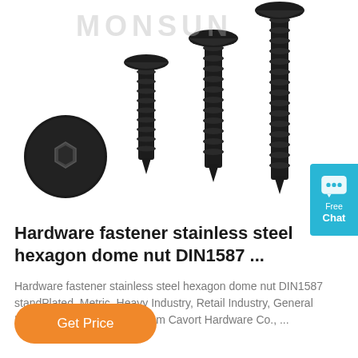[Figure (photo): Product photo showing four black flat-head countersunk screws of increasing heights and one screw head viewed from top (showing hex socket), arranged on a white background. Brand watermark 'MONSUN' at top.]
Hardware fastener stainless steel hexagon dome nut DIN1587 ...
Hardware fastener stainless steel hexagon dome nut DIN1587 standPlated, Metric, Heavy Industry, Retail Industry, General Industry, Automotive urce from Cavort Hardware Co., ...
Get Price